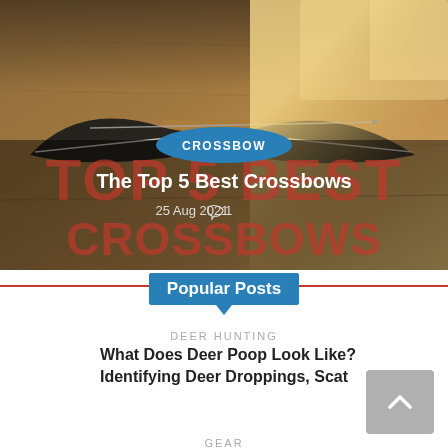[Figure (photo): Hero image showing a crossbow resting on a wooden table with warm sunlight in the background. Overlaid text reads 'CROSSBOW' in a blue oval badge, 'The Top 5 Best Crossbows' in white bold text, '25 Aug 2021' with a comment icon and count '1'. Behind the white text, large red stylized text reads 'TOP 5 BEST CROSSBOWS'.]
Popular Posts
DEER HUNTING
What Does Deer Poop Look Like? Identifying Deer Droppings, Scat
GEAR